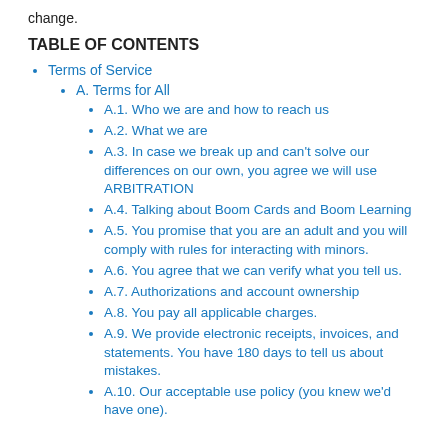change.
TABLE OF CONTENTS
Terms of Service
A. Terms for All
A.1. Who we are and how to reach us
A.2. What we are
A.3. In case we break up and can't solve our differences on our own, you agree we will use ARBITRATION
A.4. Talking about Boom Cards and Boom Learning
A.5. You promise that you are an adult and you will comply with rules for interacting with minors.
A.6. You agree that we can verify what you tell us.
A.7. Authorizations and account ownership
A.8. You pay all applicable charges.
A.9. We provide electronic receipts, invoices, and statements. You have 180 days to tell us about mistakes.
A.10. Our acceptable use policy (you knew we'd have one).